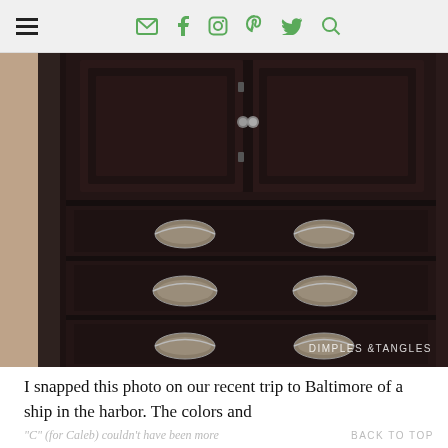Navigation bar with hamburger menu and social icons (email, facebook, instagram, pinterest, twitter, search)
[Figure (photo): Close-up photo of a dark espresso/black painted wooden dresser or armoire with cup-pull drawer hardware in antique silver/nickel finish. Shows two upper cabinet doors with round knobs, and three lower drawers each with two cup pulls. Watermark reads 'DIMPLES & TANGLES' in the lower right corner.]
I snapped this photo on our recent trip to Baltimore of a ship in the harbor. The colors and
"C" (for Caleb) couldn't have been more  BACK TO TOP